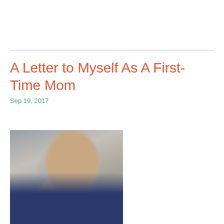A Letter to Myself As A First-Time Mom
Sep 19, 2017
[Figure (photo): A young woman with brown hair bending her head down to touch cheeks with a sleeping newborn baby. Black and white / desaturated photo. The woman is wearing a dark navy top.]